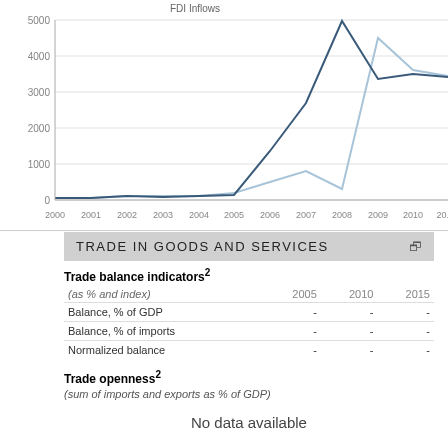[Figure (line-chart): FDI Inflows]
TRADE IN GOODS AND SERVICES
Trade balance indicators²
| (as % and index) | 2005 | 2010 | 2015 |
| --- | --- | --- | --- |
| Balance, % of GDP | - | - | - |
| Balance, % of imports | - | - | - |
| Normalized balance | - | - | - |
Trade openness²
(sum of imports and exports as % of GDP)
No data available